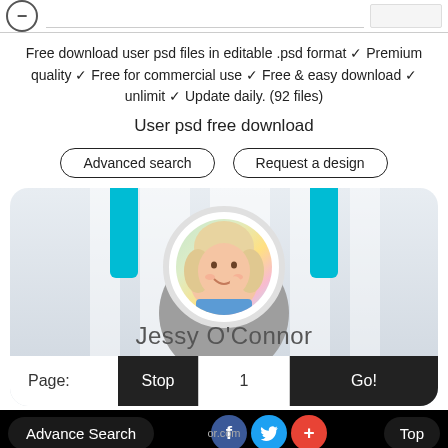Free download user psd files in editable .psd format ✓ Premium quality ✓ Free for commercial use ✓ Free & easy download ✓ unlimit ✓ Update daily. (92 files)
User psd free download
Advanced search
Request a design
[Figure (illustration): User profile card UI mockup showing a woman with blonde hair smiling, name 'Jessy O'Connor', with blue straps hanging from top, pagination controls (Page: Stop 1 Go!)]
Page: Stop 1 Go!
Advance Search
or.com
Top